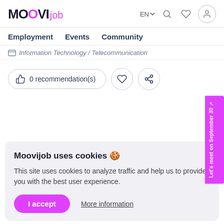MOOVIjob | EN | Employment | Events | Community
Information Technology / Telecommunication
0 recommendation(s)
Moovijob uses cookies 🍪
This site uses cookies to analyze traffic and help us to provide you with the best user experience.
I accept | More information
Let's meet on September 30